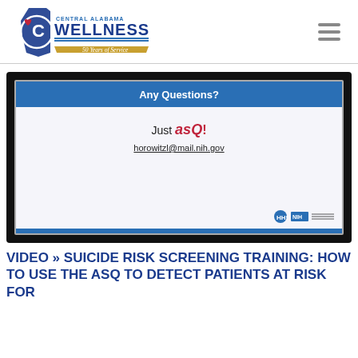[Figure (logo): Central Alabama Wellness logo with tagline '50 Years of Service']
[Figure (screenshot): Video screenshot of a presentation slide titled 'Any Questions?' with text 'Just asQ!' and email horowitzl@mail.nih.gov, with NIH/HHS logos in bottom right]
VIDEO » SUICIDE RISK SCREENING TRAINING: HOW TO USE THE ASQ TO DETECT PATIENTS AT RISK FOR